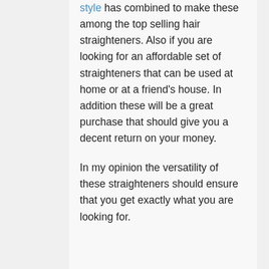style has combined to make these among the top selling hair straighteners. Also if you are looking for an affordable set of straighteners that can be used at home or at a friend's house. In addition these will be a great purchase that should give you a decent return on your money.
In my opinion the versatility of these straighteners should ensure that you get exactly what you are looking for.